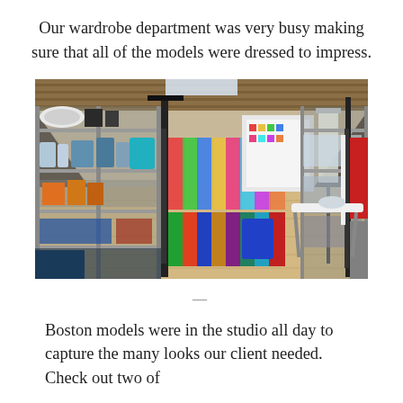Our wardrobe department was very busy making sure that all of the models were dressed to impress.
[Figure (photo): Interior of a wardrobe/styling department with metal wire shelving racks filled with colorful hanging clothes, supplies on shelves, lighting equipment, a garment steamer/iron on a table in the foreground right, and a studio space visible in the background.]
—
Boston models were in the studio all day to capture the many looks our client needed. Check out two of